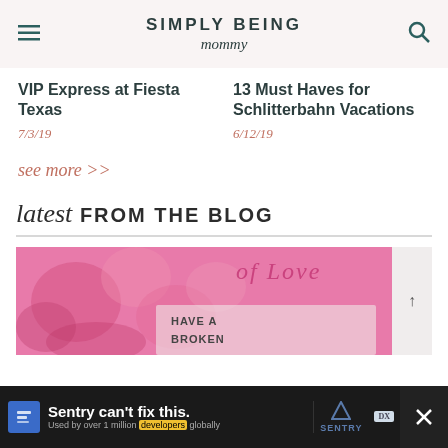SIMPLY BEING mommy
VIP Express at Fiesta Texas
7/3/19
13 Must Haves for Schlitterbahn Vacations
6/12/19
see more >>
latest FROM THE BLOG
[Figure (photo): Blog post featured image with pink/red Valentine's Day or love-themed background with text overlay reading 'of Love' and 'HAVE A ... BROKEN']
Sentry can't fix this. Used by over 1 million developers globally